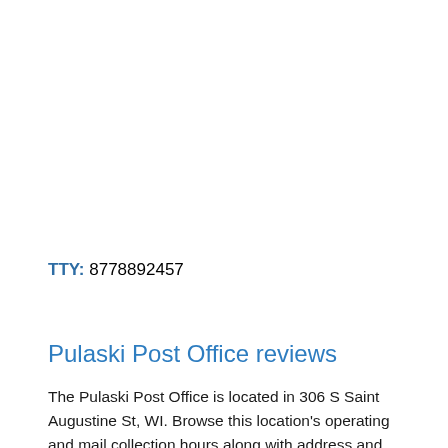TTY: 8778892457
Pulaski Post Office reviews
The Pulaski Post Office is located in 306 S Saint Augustine St, WI. Browse this location's operating and mail collection hours along with address and contact information. You can also see